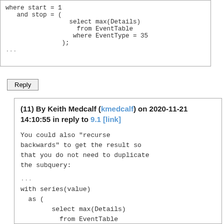Reply
(11) By Keith Medcalf (kmedcalf) on 2020-11-21 14:10:55 in reply to 9.1 [link]
You could also "recurse backwards" to get the result so that you do not need to duplicate the subquery: